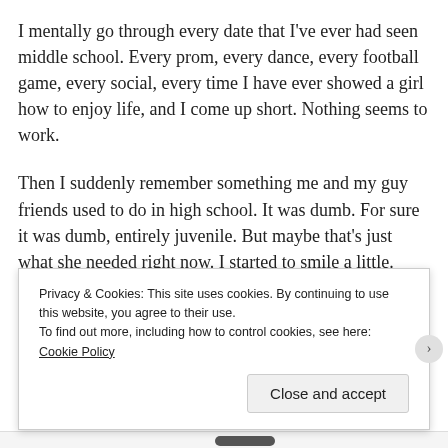I mentally go through every date that I've ever had seen middle school. Every prom, every dance, every football game, every social, every time I have ever showed a girl how to enjoy life, and I come up short. Nothing seems to work.
Then I suddenly remember something me and my guy friends used to do in high school. It was dumb. For sure it was dumb, entirely juvenile. But maybe that's just what she needed right now. I started to smile a little. There was also no way she had done this with her friend.
Privacy & Cookies: This site uses cookies. By continuing to use this website, you agree to their use.
To find out more, including how to control cookies, see here: Cookie Policy
Close and accept